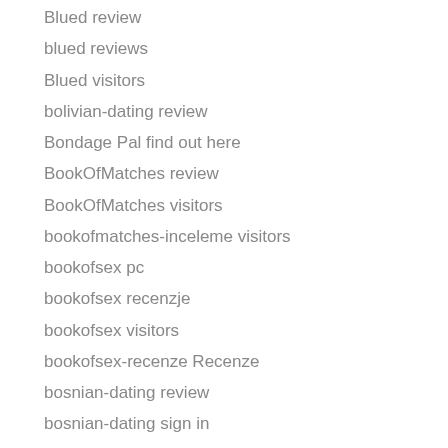Blued review
blued reviews
Blued visitors
bolivian-dating review
Bondage Pal find out here
BookOfMatches review
BookOfMatches visitors
bookofmatches-inceleme visitors
bookofsex pc
bookofsex recenzje
bookofsex visitors
bookofsex-recenze Recenze
bosnian-dating review
bosnian-dating sign in
Boston+MA+Massachusetts free hookup website